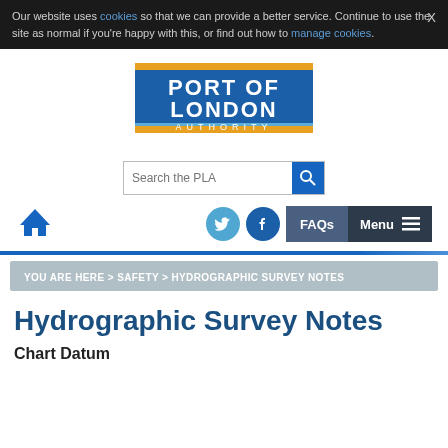Our website uses cookies so that we can provide a better service. Continue to use the site as normal if you're happy with this, or find out how to manage cookies.
[Figure (logo): Port of London Authority logo — blue rectangle with gold top and bottom stripes, white bold text reading PORT OF LONDON AUTHORITY]
Search the PLA
YOU ARE HERE > SAFETY > HYDROGRAPHIC SURVEY NOTES
Hydrographic Survey Notes
Chart Datum